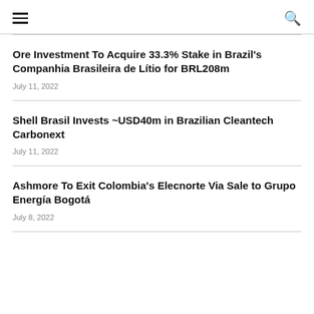≡  🔍
Ore Investment To Acquire 33.3% Stake in Brazil's Companhia Brasileira de Lítio for BRL208m
July 11, 2022
Shell Brasil Invests ~USD40m in Brazilian Cleantech Carbonext
July 11, 2022
Ashmore To Exit Colombia's Elecnorte Via Sale to Grupo Energía Bogotá
July 8, 2022